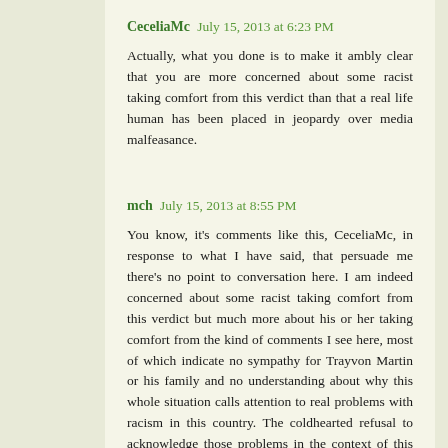CeceliaMc July 15, 2013 at 6:23 PM
Actually, what you done is to make it ambly clear that you are more concerned about some racist taking comfort from this verdict than that a real life human has been placed in jeopardy over media malfeasance.
mch July 15, 2013 at 8:55 PM
You know, it's comments like this, CeceliaMc, in response to what I have said, that persuade me there's no point to conversation here. I am indeed concerned about some racist taking comfort from this verdict but much more about his or her taking comfort from the kind of comments I see here, most of which indicate no sympathy for Trayvon Martin or his family and no understanding about why this whole situation calls attention to real problems with racism in this country. The coldhearted refusal to acknowledge those problems in the context of this case, even if one believes that the jury verdict was understandable and